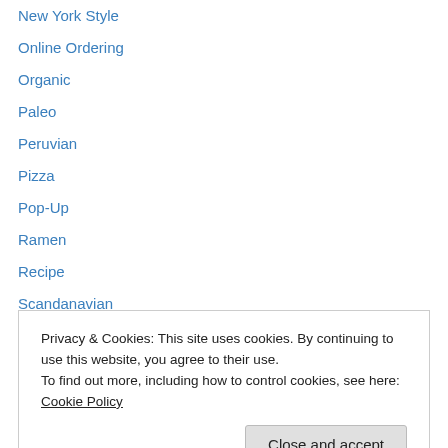New York Style
Online Ordering
Organic
Paleo
Peruvian
Pizza
Pop-Up
Ramen
Recipe
Scandanavian
Scrolls
Smoothies
Soul Food
Privacy & Cookies: This site uses cookies. By continuing to use this website, you agree to their use. To find out more, including how to control cookies, see here: Cookie Policy
Swedish